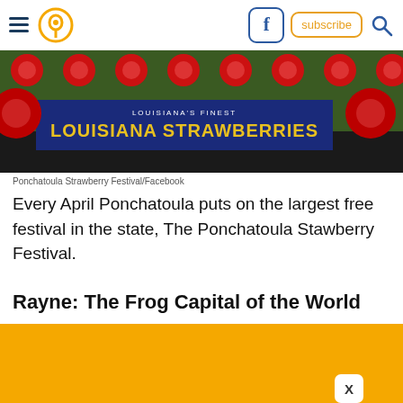Navigation bar with hamburger menu, pin/location icon, Facebook icon, subscribe button, search icon
[Figure (photo): Sign reading 'Louisiana's Finest Louisiana Strawberries' with strawberry decorations on a green and dark blue background]
Ponchatoula Strawberry Festival/Facebook
Every April Ponchatoula puts on the largest free festival in the state, The Ponchatoula Stawberry Festival.
Rayne: The Frog Capital of the World
[Figure (other): Orange/gold advertisement banner with an X close button, followed by a light peach colored section below]